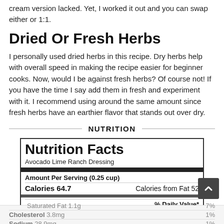cream version lacked. Yet, I worked it out and you can swap either or 1:1.
Dried Or Fresh Herbs
I personally used dried herbs in this recipe. Dry herbs help with overall speed in making the recipe easier for beginner cooks. Now, would I be against fresh herbs? Of course not! If you have the time I say add them in fresh and experiment with it. I recommend using around the same amount since fresh herbs have an earthier flavor that stands out over dry.
NUTRITION
| Nutrition Facts | Avocado Lime Ranch Dressing | Amount Per Serving (0.25 cup) | Calories 64.7 | Calories from Fat 52 | % Daily Value* | Fat 5.8g | 9% | Saturated Fat 1.1g | 7% | Cholesterol 3.8mg | 1% | Sodium 28.9mg | 1% |
| --- | --- | --- | --- | --- | --- | --- | --- | --- | --- | --- | --- | --- | --- |